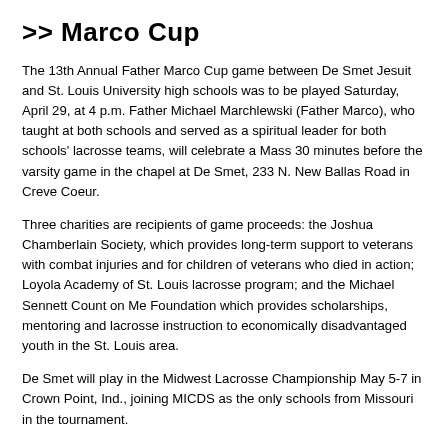>> Marco Cup
The 13th Annual Father Marco Cup game between De Smet Jesuit and St. Louis University high schools was to be played Saturday, April 29, at 4 p.m. Father Michael Marchlewski (Father Marco), who taught at both schools and served as a spiritual leader for both schools' lacrosse teams, will celebrate a Mass 30 minutes before the varsity game in the chapel at De Smet, 233 N. New Ballas Road in Creve Coeur.
Three charities are recipients of game proceeds: the Joshua Chamberlain Society, which provides long-term support to veterans with combat injuries and for children of veterans who died in action; Loyola Academy of St. Louis lacrosse program; and the Michael Sennett Count on Me Foundation which provides scholarships, mentoring and lacrosse instruction to economically disadvantaged youth in the St. Louis area.
De Smet will play in the Midwest Lacrosse Championship May 5-7 in Crown Point, Ind., joining MICDS as the only schools from Missouri in the tournament.
De Smet will play two of the top 25 teams in the nation. De Smet coach Joe Douglas said "it's a chance to prove ourselves and prove